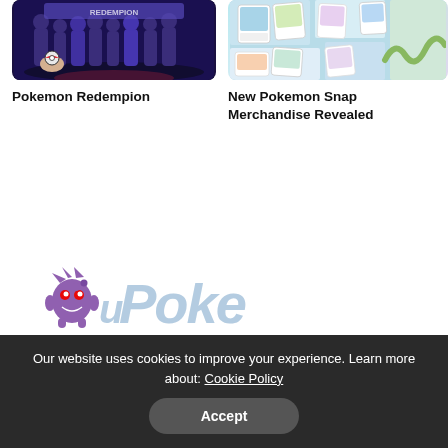[Figure (screenshot): Screenshot of a Pokemon game scene with purple/dark background showing silhouettes of Pokemon trainers]
Pokemon Redempion
[Figure (screenshot): Screenshot of New Pokemon Snap merchandise cards arranged on a light blue/green background]
New Pokemon Snap Merchandise Revealed
[Figure (logo): uPoke logo with a small Pokemon sprite and stylized italic text in light blue]
Our website uses cookies to improve your experience. Learn more about: Cookie Policy
Accept